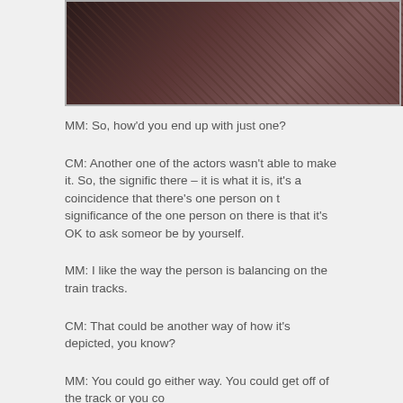[Figure (photo): A photo showing train tracks with a dark brown/reddish background, appearing to show railroad tracks from above or at an angle.]
MM: So, how'd you end up with just one?
CM: Another one of the actors wasn't able to make it. So, the significance there – it is what it is, it's a coincidence that there's one person on there. The significance of the one person on there is that it's OK to ask someone to be by yourself.
MM: I like the way the person is balancing on the train tracks.
CM: That could be another way of how it's depicted, you know?
MM: You could go either way. You could get off of the track or you could...
CM: Man, that is much deeper than I had envisioned that. I love that...
MM: Are you guys going to be doing any more touring for the album...
CM: Oh, yeah. Absolutely. We actually just announced a tour starting...